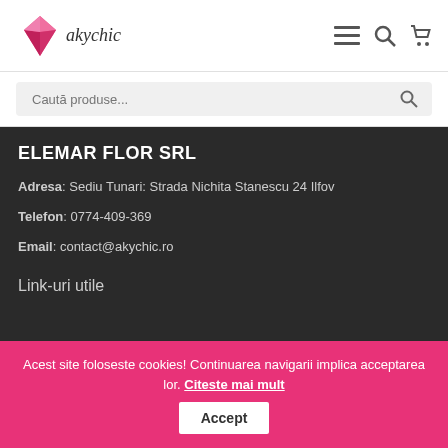[Figure (logo): Akychic logo with pink diamond and cursive text]
Menu, Search, Cart icons
Caută produse...
ELEMAR FLOR SRL
Adresa: Sediu Tunari: Strada Nichita Stanescu 24 Ilfov
Telefon: 0774-409-369
Email: contact@akychic.ro
Link-uri utile
Acest site foloseste cookies! Continuarea navigarii implica acceptarea lor. Citeste mai mult Accept